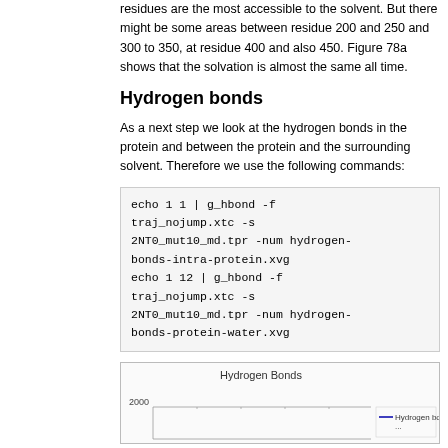residues are the most accessible to the solvent. But there might be some areas between residue 200 and 250 and 300 to 350, at residue 400 and also 450. Figure 78a shows that the solvation is almost the same all time.
Hydrogen bonds
As a next step we look at the hydrogen bonds in the protein and between the protein and the surrounding solvent. Therefore we use the following commands:
echo 1 1 | g_hbond -f traj_nojump.xtc -s 2NT0_mut10_md.tpr -num hydrogen-bonds-intra-protein.xvg
echo 1 12 | g_hbond -f traj_nojump.xtc -s 2NT0_mut10_md.tpr -num hydrogen-bonds-protein-water.xvg
[Figure (continuous-plot): Hydrogen Bonds plot, partially visible. Title reads 'Hydrogen Bonds'. Y-axis shows value 2000. Legend partially visible reading 'Hydrogen bo...']